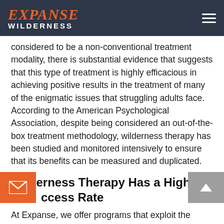EXPANSE WILDERNESS
considered to be a non-conventional treatment modality, there is substantial evidence that suggests that this type of treatment is highly efficacious in achieving positive results in the treatment of many of the enigmatic issues that struggling adults face. According to the American Psychological Association, despite being considered an out-of-the-box treatment methodology, wilderness therapy has been studied and monitored intensively to ensure that its benefits can be measured and duplicated.
Wilderness Therapy Has a High Success Rate
At Expanse, we offer programs that exploit the